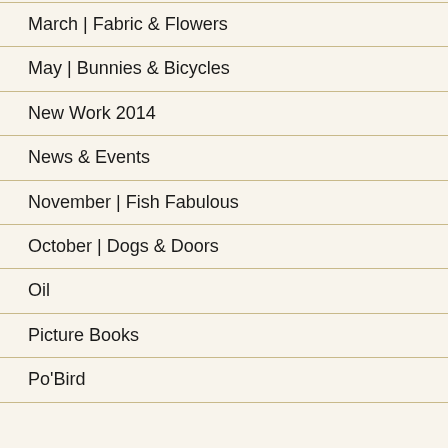March | Fabric & Flowers
May | Bunnies & Bicycles
New Work 2014
News & Events
November | Fish Fabulous
October | Dogs & Doors
Oil
Picture Books
Po'Bird